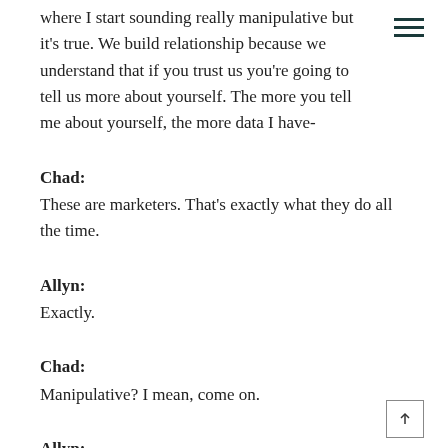where I start sounding really manipulative but it's true. We build relationship because we understand that if you trust us you're going to tell us more about yourself. The more you tell me about yourself, the more data I have-
Chad:
These are marketers. That's exactly what they do all the time.
Allyn:
Exactly.
Chad:
Manipulative? I mean, come on.
Allyn:
The more data I have about it, then I'm able to throw it over to Tyler and his team who were able to put great analytics and artificial intelligence and algorithms behind it to help me figure out who you are, connect you on what to do with you.